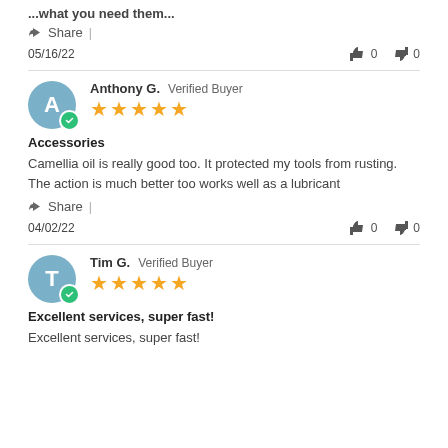...what you need them...
Share |
05/16/22   👍 0   👎 0
Anthony G.  Verified Buyer  ★★★★★
Accessories
Camellia oil is really good too. It protected my tools from rusting. The action is much better too works well as a lubricant
Share |
04/02/22   👍 0   👎 0
Tim G.  Verified Buyer  ★★★★★
Excellent services, super fast!
Excellent services, super fast!